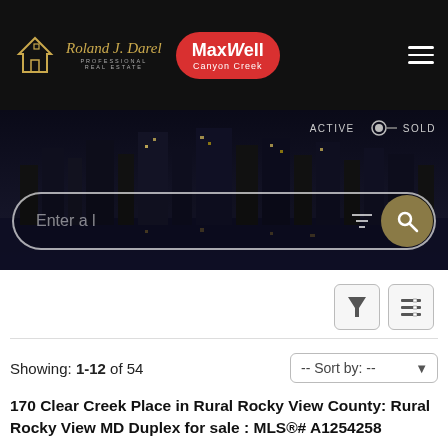[Figure (logo): Roland J. Darel Professional Real Estate logo with Maxwell Canyon Creek badge and hamburger menu on black header]
[Figure (screenshot): Hero banner with city night skyline, ACTIVE/SOLD toggle, and search bar with filter and search button]
Showing: 1-12 of 54
170 Clear Creek Place in Rural Rocky View County: Rural Rocky View MD Duplex for sale : MLS®# A1254258
[Figure (photo): Listing interior kitchen photo with green LISTING ribbon and contact button]